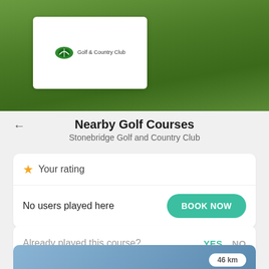[Figure (photo): Green golf course grass background with Stonebridge Golf and Country Club logo card overlay]
Nearby Golf Courses
Stonebridge Golf and Country Club
Your rating
No users played here
BOOK NOW
Already played this course?
YES  NO
[Figure (photo): Partial bottom card showing blue sky/golf course background with distance badge showing 46 km]